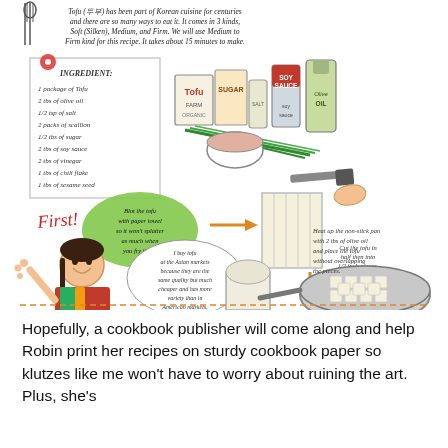[Figure (illustration): Illustrated comic-style Korean tofu recipe page. Top section has text about tofu (두부) being part of Korean cuisine for centuries, available in Soft (Silken), Medium, and Firm varieties. An ingredients list on a notepad-style card lists: 1 package of Tofu, 2 tbs of olive oil, 1/2 tsp of salt, 2 packs of scallion, 1/2 tbs of sugar, 2 tbs of soy sauce, 2 tbs of vinegar, 1 tbs of chili flake, 1 tbs of sesame seed. Illustrated ingredients include Tofu box, soy sauce bottle, olive oil bottle, and other condiments. Below, step-by-step cooking illustrations show: First! - Blot the tofu with paper towel so it won't splatter as much when you fry them. A character with a speech bubble says: I buy tofu at the Asian markets because they are the same quality but much cheaper and has more variety than in American markets. Another instruction: Cut the tofu in half then into 1/2 inch pieces. Heat up the non-stick pan with 2 tbs of olive oil and place the tofu without overlapping the pieces. Illustrations show tofu being cut and placed in a frying pan. A dashed orange line separates the illustration from the text below.]
Hopefully, a cookbook publisher will come along and help Robin print her recipes on sturdy cookbook paper so klutzes like me won't have to worry about ruining the art. Plus, she's